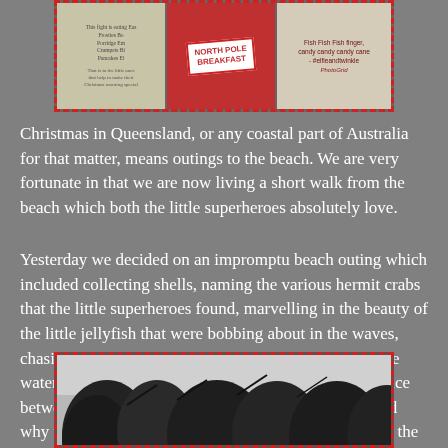[Figure (photo): Three photos arranged side by side with a red dashed/solid border: left photo shows a handwritten or printed card, middle photo shows a 'North Pole Breakfast' sign with red chevron pattern background, right photo shows text reading 'Fish Fish Fish finger, candy candy candy cane -#elfieandtwinkle PhotoGrid']
Christmas in Queensland, or any coastal part of Australia for that matter, means outings to the beach. We are very fortunate in that we are now living a short walk from the beach which both the little superheroes absolutely love.
Yesterday we decided on an impromptu beach outing which included collecting shells, naming the various hermit crabs that the little superheroes found, marvelling in the beauty of the little jellyfish that were bobbing about in the waves, chasing bait fish, building sand castles, frolicking in the water and a short marine biology lesson on the difference between Mummy and Daddy Blue Swimmer Crabs and why the Mummy crabs HAVE to be released back into the water. The Blue Swimmer Crab that the little superheroes found had a lot of eggs on her underside!
[Figure (photo): Black and white photo of trees with branches against a light sky, taken from below looking up]